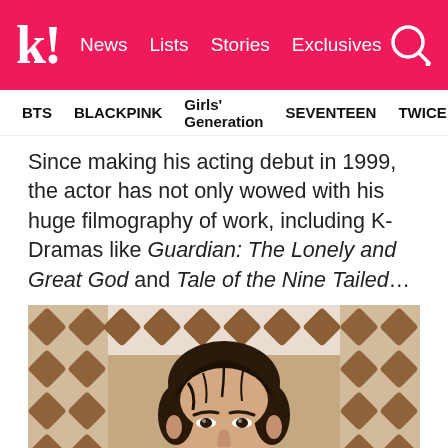K! News Lists Stories Exclusives
BTS  BLACKPINK  Girls' Generation  SEVENTEEN  TWICE
Since making his acting debut in 1999, the actor has not only wowed with his huge filmography of work, including K-Dramas like Guardian: The Lonely and Great God and Tale of the Nine Tailed…
[Figure (photo): Portrait photo of a young Korean male actor in a dark suit jacket with white shirt, brown wavy hair, looking directly at camera. Background shows a decorative lattice/geometric pattern in brown and white.]